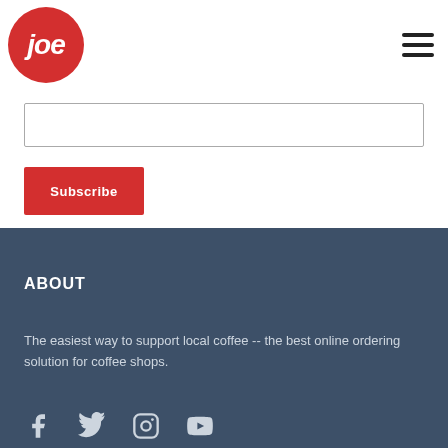[Figure (logo): Joe Coffee red circular logo with white italic 'joe' text]
[Figure (other): Hamburger menu icon (three horizontal lines)]
[Figure (other): Empty text input field with border]
Subscribe
ABOUT
The easiest way to support local coffee -- the best online ordering solution for coffee shops.
[Figure (other): Social media icons: Facebook, Twitter, Instagram, YouTube]